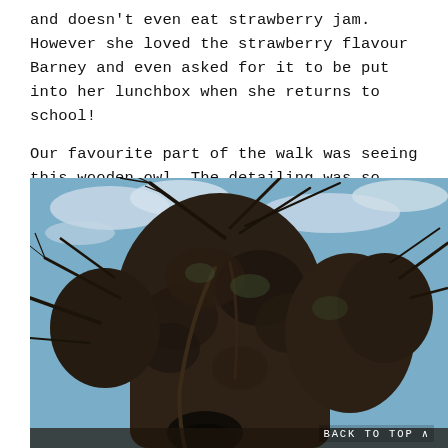and doesn't even eat strawberry jam. However she loved the strawberry flavour Barney and even asked for it to be put into her lunchbox when she returns to school!
Our favourite part of the walk was seeing this wooden owl. The detailing was so intricate!
[Figure (photo): Upward-looking photograph of a large gnarled tree trunk with bare winter branches against a blue sky with light clouds. The tree's rough bark and twisted branches dominate the frame.]
BACK TO TOP ^